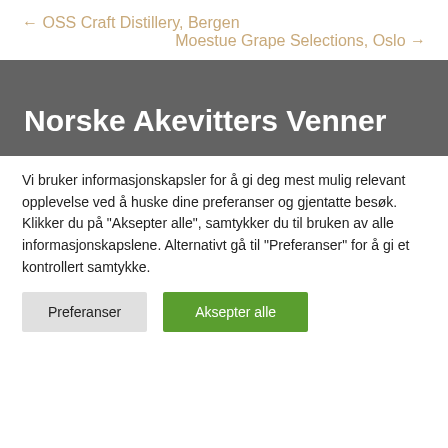← OSS Craft Distillery, Bergen
Moestue Grape Selections, Oslo →
Norske Akevitters Venner
Vi bruker informasjonskapsler for å gi deg mest mulig relevant opplevelse ved å huske dine preferanser og gjentatte besøk. Klikker du på "Aksepter alle", samtykker du til bruken av alle informasjonskapslene. Alternativt gå til "Preferanser" for å gi et kontrollert samtykke.
Preferanser
Aksepter alle